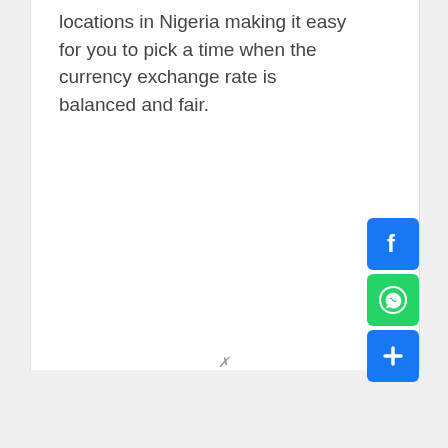locations in Nigeria making it easy for you to pick a time when the currency exchange rate is balanced and fair.
[Figure (illustration): Social sharing buttons: Facebook (blue), WhatsApp (green), and a general share button (blue with plus icon), stacked vertically on the right side of the page.]